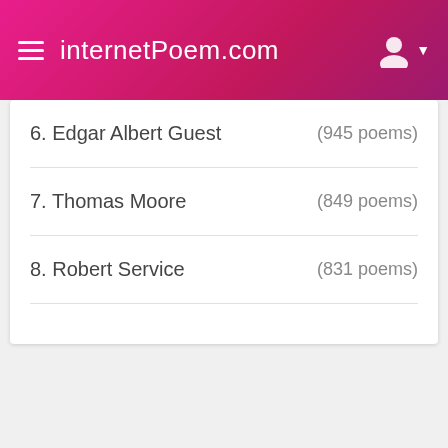internetPoem.com
6. Edgar Albert Guest (945 poems)
7. Thomas Moore (849 poems)
8. Robert Service (831 poems)